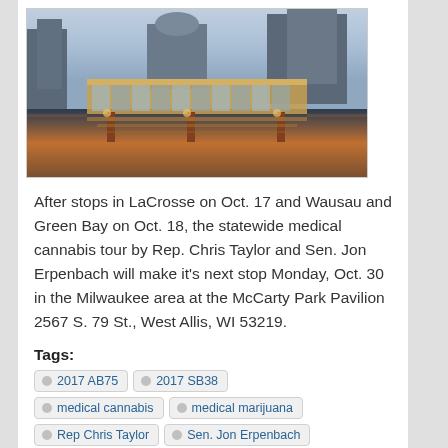[Figure (photo): City waterfront photo showing a glass bridge or pavilion structure over a river at dusk/dawn, with urban buildings in the background and reflections in the water]
After stops in LaCrosse on Oct. 17 and Wausau and Green Bay on Oct. 18, the statewide medical cannabis tour by Rep. Chris Taylor and Sen. Jon Erpenbach will make it's next stop Monday, Oct. 30 in the Milwaukee area at the McCarty Park Pavilion 2567 S. 79 St., West Allis, WI 53219.
Tags:
2017 AB75
2017 SB38
medical cannabis
medical marijuana
Rep Chris Taylor
Sen. Jon Erpenbach
Read more